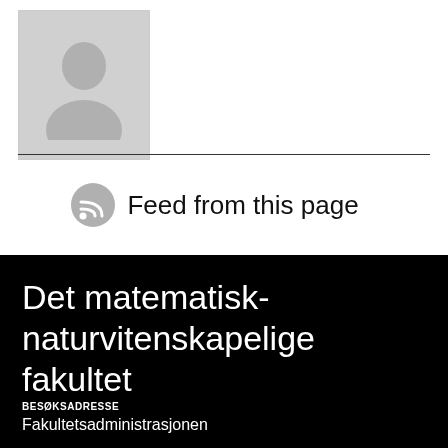[Figure (photo): Placeholder person silhouette photo in gray box]
Feed from this page
Det matematisk-naturvitenskapelige fakultet
BESØKSADRESSE
Fakultetsadministrasjonen